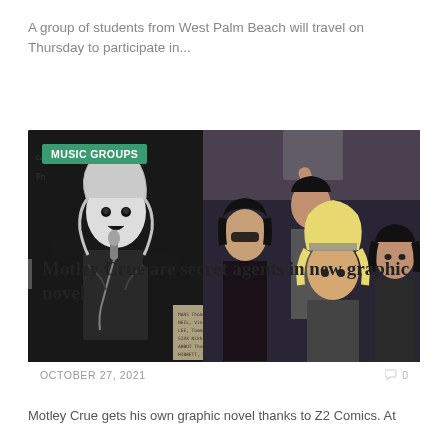A group of students from West Palm Beach will travel on Thursday to participate in...
[Figure (photo): Composite image: left side shows black-and-white comic book art of a rock musician with microphone; right side shows a color photograph of Motley Crue band members posed together. A green 'MUSIC GROUPS' badge overlays the top-left corner.]
OCTOBER 27, 2021
0
Motley Crue are secret agents in new graphic novel
Motley Crue gets his own graphic novel thanks to Z2 Comics. At